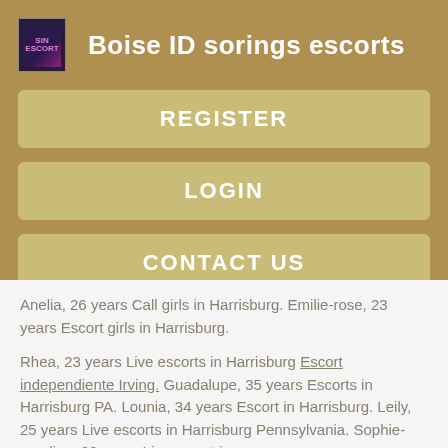Boise ID sorings escorts
REGISTER
LOGIN
CONTACT US
Anelia, 26 years Call girls in Harrisburg. Emilie-rose, 23 years Escort girls in Harrisburg.
Rhea, 23 years Live escorts in Harrisburg Escort independiente Irving. Guadalupe, 35 years Escorts in Harrisburg PA. Lounia, 34 years Escort in Harrisburg. Leily, 25 years Live escorts in Harrisburg Pennsylvania. Sophie-caroline, 28 years Live escort in